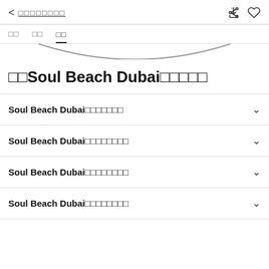< [garbled text] [share icon] [heart icon]
[tab1] [tab2] [tab3 active]
[Figure (illustration): Arc/curved bottom bar graphic]
[squares]Soul Beach Dubai[squares]
Soul Beach Dubai[squares]
Soul Beach Dubai[squares]
Soul Beach Dubai[squares]
Soul Beach Dubai[squares]